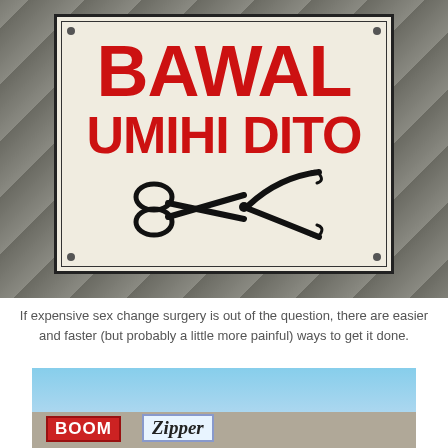[Figure (photo): Photo of a hand-painted sign on a stone wall reading 'BAWAL UMIHI DITO' in large red letters with a painted scissors symbol beneath the text.]
If expensive sex change surgery is out of the question, there are easier and faster (but probably a little more painful) ways to get it done.
[Figure (photo): Photo of shop signs including 'BOOM' in red and 'Zipper' in stylized text against a blue sky background.]